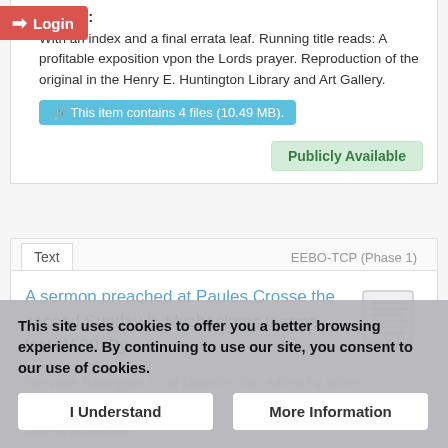Description:
With an index and a final errata leaf. Running title reads: A profitable exposition vpon the Lords prayer. Reproduction of the original in the Henry E. Huntington Library and Art Gallery.
This item contains 4 files (10.49 MB).
Publicly Available
Text
EEBO-TCP (Phase 1)
A sermon preached at Paules Crosse the second Sunday in Mychaelmas tearme last. 1590. By
Gervase Babington D. of Diuinitie. Not edited by others. Attributed: Yes.
Date of publication: 1591
Author(s):
This site uses cookies to offer you a better browsing experience. By continuing to use our site, you consent to our use of cookies.
I Understand
More Information